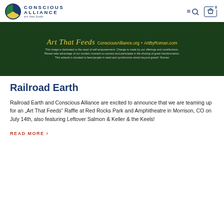Conscious Alliance — art that feeds
[Figure (photo): Dark green decorative banner image with text: 'Art That Feeds' in yellow cursive script, followed by 'ConsciousAlliance.org + ArtByRoman.com'. Below in white text: 'This image is dedicated to the need of self empowerment. Change is made by our offerings and contributions. Please take advantage of our modern moment to connect and participate in the sharing of great transformation. This artwork is donated to feed people in need and synchronize minds beyond greed! -Roman']
Railroad Earth
Railroad Earth and Conscious Alliance are excited to announce that we are teaming up for an „Art That Feeds“ Raffle at Red Rocks Park and Amphitheatre in Morrison, CO on July 14th, also featuring Leftover Salmon & Keller & the Keels!
READ MORE ›